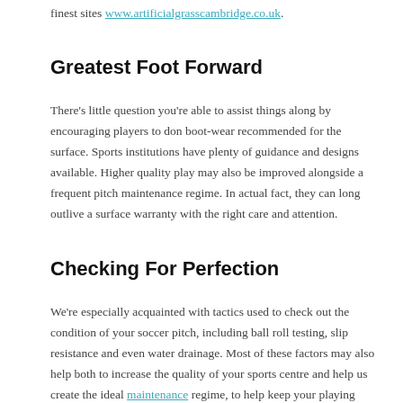finest sites www.artificialgrasscambridge.co.uk.
Greatest Foot Forward
There’s little question you’re able to assist things along by encouraging players to don boot-wear recommended for the surface. Sports institutions have plenty of guidance and designs available. Higher quality play may also be improved alongside a frequent pitch maintenance regime. In actual fact, they can long outlive a surface warranty with the right care and attention.
Checking For Perfection
We’re especially acquainted with tactics used to check out the condition of your soccer pitch, including ball roll testing, slip resistance and even water drainage. Most of these factors may also help both to increase the quality of your sports centre and help us create the ideal maintenance regime, to help keep your playing surface in the ideal state.